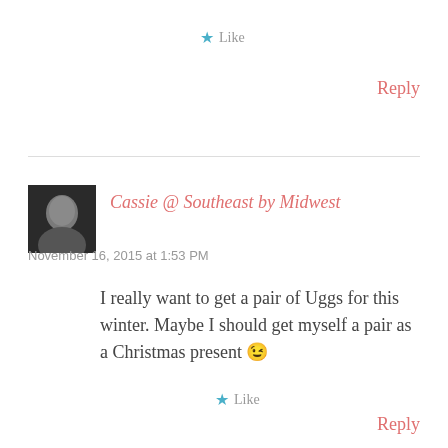★ Like
Reply
[Figure (photo): Avatar photo of commenter Cassie, a dark-haired person shown from shoulders up against a light background]
Cassie @ Southeast by Midwest
November 16, 2015 at 1:53 PM
I really want to get a pair of Uggs for this winter. Maybe I should get myself a pair as a Christmas present 😉
★ Like
Reply